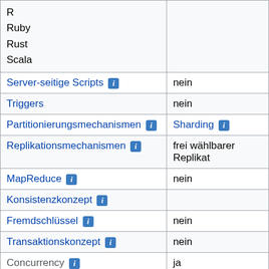| Feature | Value |
| --- | --- |
| (continued) R
Ruby
Rust
Scala |  |
| Server-seitige Scripts [i] | nein |
| Triggers | nein |
| Partitionierungsmechanismen [i] | Sharding [i] |
| Replikationsmechanismen [i] | frei wählbarer Replikat… |
| MapReduce [i] | nein |
| Konsistenzkonzept [i] |  |
| Fremdschlüssel [i] | nein |
| Transaktionskonzept [i] | nein |
| Concurrency [i] | ja |
| Durability [i] | ja |
| In-Memory Unterstützung [i] | ja [i] |